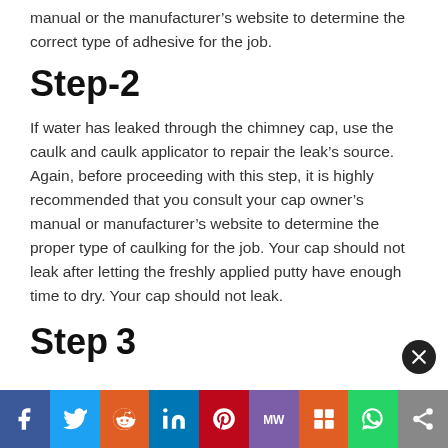manual or the manufacturer’s website to determine the correct type of adhesive for the job.
Step-2
If water has leaked through the chimney cap, use the caulk and caulk applicator to repair the leak’s source. Again, before proceeding with this step, it is highly recommended that you consult your cap owner’s manual or manufacturer’s website to determine the proper type of caulking for the job. Your cap should not leak after letting the freshly applied putty have enough time to dry. Your cap should not leak.
Step 3